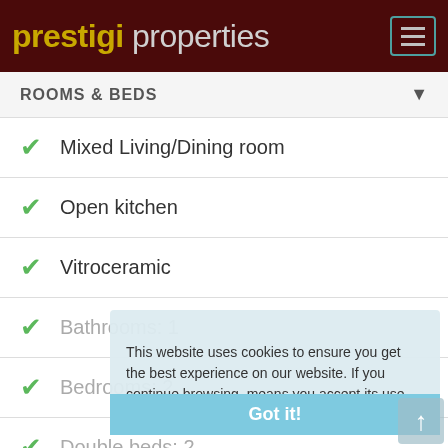prestigi properties
ROOMS & BEDS
Mixed Living/Dining room
Open kitchen
Vitroceramic
Bathrooms: 1
Bedrooms: 2
Double beds: 2
Comfortable furniture
Fireplace
This website uses cookies to ensure you get the best experience on our website. If you continue browsing, means you accept its use.
Got it!